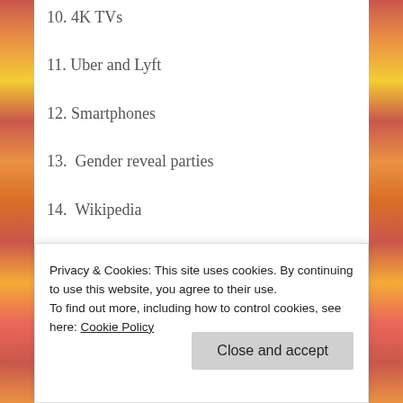10. 4K TVs
11. Uber and Lyft
12. Smartphones
13.  Gender reveal parties
14.  Wikipedia
Privacy & Cookies: This site uses cookies. By continuing to use this website, you agree to their use.
To find out more, including how to control cookies, see here: Cookie Policy
probably mold too. I'm not allergic to any foods